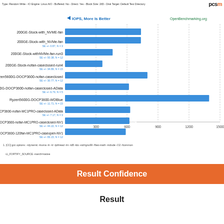Type: Random Write - IO Engine: Linux AIO - Buffered: No - Direct: Yes - Block Size: 265 - Disk Target: Default Test Directory
[Figure (bar-chart): IOPS, More Is Better]
1. [CC] gcc options: -rdynamic -lnuma -ln -lz -lpthread -lm -ld8 -ldo -std=gnu99 -ffast-math -include -O2 -fcommon -U_FORTIFY_SOURCE -march=native
Result Confidence
Result